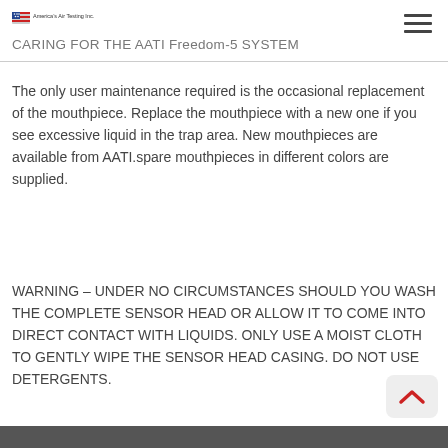CARING FOR THE AATI Freedom-5 SYSTEM
The only user maintenance required is the occasional replacement of the mouthpiece. Replace the mouthpiece with a new one if you see excessive liquid in the trap area. New mouthpieces are available from AATI.spare mouthpieces in different colors are supplied.
WARNING – UNDER NO CIRCUMSTANCES SHOULD YOU WASH THE COMPLETE SENSOR HEAD OR ALLOW IT TO COME INTO DIRECT CONTACT WITH LIQUIDS. ONLY USE A MOIST CLOTH TO GENTLY WIPE THE SENSOR HEAD CASING. DO NOT USE DETERGENTS.